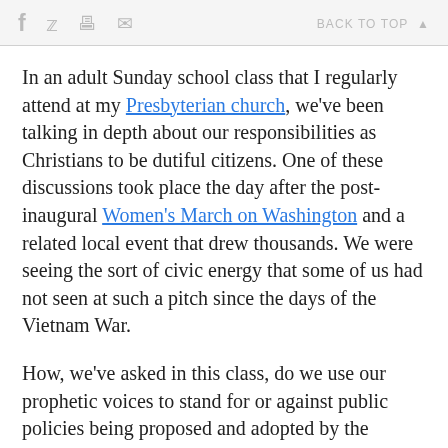[social icons: Facebook, Twitter, Print, Email] BACK TO TOP ▲
In an adult Sunday school class that I regularly attend at my Presbyterian church, we've been talking in depth about our responsibilities as Christians to be dutiful citizens. One of these discussions took place the day after the post-inaugural Women's March on Washington and a related local event that drew thousands. We were seeing the sort of civic energy that some of us had not seen at such a pitch since the days of the Vietnam War.
How, we've asked in this class, do we use our prophetic voices to stand for or against public policies being proposed and adopted by the president and Congress or the governor and state legislators? When do we march in organized protests? When do we do whatever would be today's equivalent of burning our draft card?